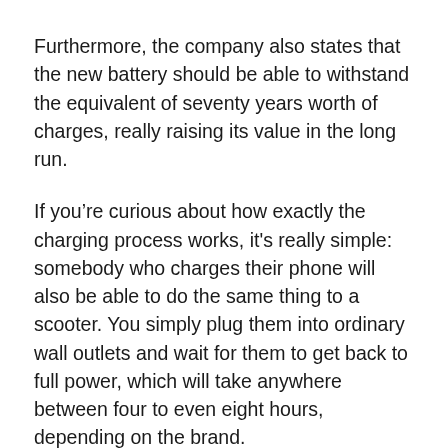Furthermore, the company also states that the new battery should be able to withstand the equivalent of seventy years worth of charges, really raising its value in the long run.
If you’re curious about how exactly the charging process works, it's really simple: somebody who charges their phone will also be able to do the same thing to a scooter. You simply plug them into ordinary wall outlets and wait for them to get back to full power, which will take anywhere between four to even eight hours, depending on the brand.
What some companies did was to design, include in the package, or even offer as an added accessory a high-power charger which can get an electric scooter up to full battery in close to one hour of idle time.